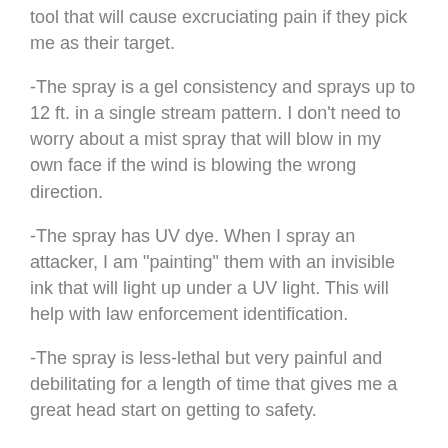tool that will cause excruciating pain if they pick me as their target.
-The spray is a gel consistency and sprays up to 12 ft. in a single stream pattern. I don’t need to worry about a mist spray that will blow in my own face if the wind is blowing the wrong direction.
-The spray has UV dye. When I spray an attacker, I am “painting” them with an invisible ink that will light up under a UV light. This will help with law enforcement identification.
-The spray is less-lethal but very painful and debilitating for a length of time that gives me a great head start on getting to safety.